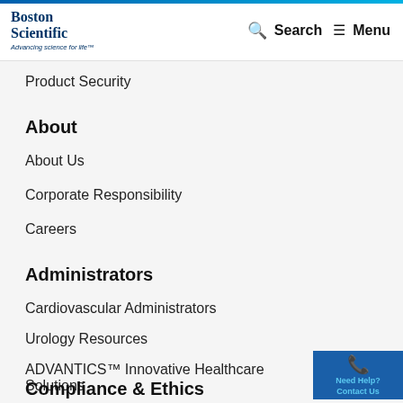Boston Scientific — Advancing science for life™ | Search | Menu
Product Security
About
About Us
Corporate Responsibility
Careers
Administrators
Cardiovascular Administrators
Urology Resources
ADVANTICS™ Innovative Healthcare Solutions
[Figure (other): Need Help? Contact Us button with phone icon]
Compliance & Ethics